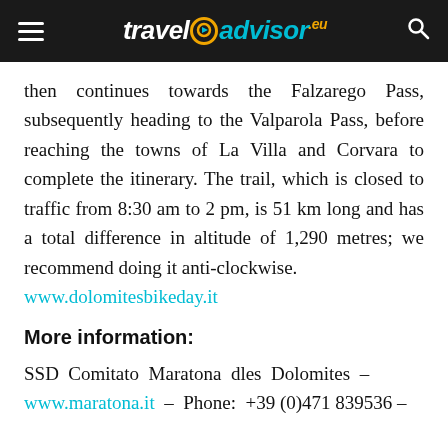traveladvisor.eu
then continues towards the Falzarego Pass, subsequently heading to the Valparola Pass, before reaching the towns of La Villa and Corvara to complete the itinerary. The trail, which is closed to traffic from 8:30 am to 2 pm, is 51 km long and has a total difference in altitude of 1,290 metres; we recommend doing it anti-clockwise. www.dolomitesbikeday.it
More information:
SSD Comitato Maratona dles Dolomites – www.maratona.it – Phone: +39 (0)471 839536 –